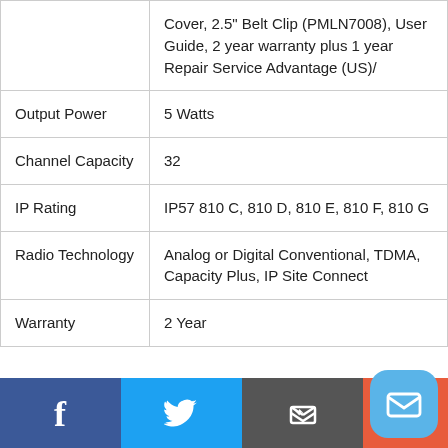|  | Cover, 2.5" Belt Clip (PMLN7008), User Guide, 2 year warranty plus 1 year Repair Service Advantage (US)/ |
| Output Power | 5 Watts |
| Channel Capacity | 32 |
| IP Rating | IP57 810 C, 810 D, 810 E, 810 F, 810 G |
| Radio Technology | Analog or Digital Conventional, TDMA, Capacity Plus, IP Site Connect |
| Warranty | 2 Year |
[Figure (infographic): Social media footer bar with Facebook (blue), Twitter (light blue), email/print (dark grey), and coral/red section; floating mail icon bubble in bottom right]